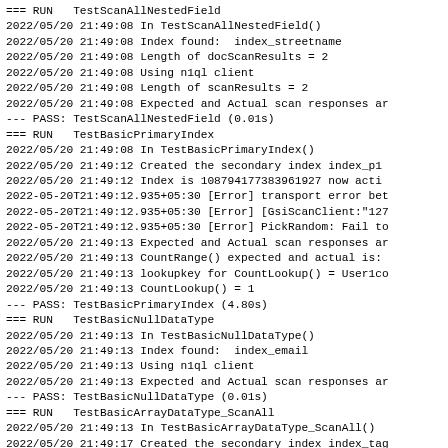=== RUN   TestScanAllNestedField
2022/05/20 21:49:08 In TestScanAllNestedField()
2022/05/20 21:49:08 Index found:  index_streetname
2022/05/20 21:49:08 Length of docScanResults = 2
2022/05/20 21:49:08 Using n1ql client
2022/05/20 21:49:08 Length of scanResults = 2
2022/05/20 21:49:08 Expected and Actual scan responses ar
--- PASS: TestScanAllNestedField (0.01s)
=== RUN   TestBasicPrimaryIndex
2022/05/20 21:49:08 In TestBasicPrimaryIndex()
2022/05/20 21:49:12 Created the secondary index index_p1
2022/05/20 21:49:12 Index is 108794177383961927 now acti
2022-05-20T21:49:12.935+05:30 [Error] transport error bet
2022-05-20T21:49:12.935+05:30 [Error] [GsiScanClient:"127
2022-05-20T21:49:12.935+05:30 [Error] PickRandom: Fail to
2022/05/20 21:49:13 Expected and Actual scan responses ar
2022/05/20 21:49:13 CountRange() expected and actual is:
2022/05/20 21:49:13 lookupkey for CountLookup() = User1co
2022/05/20 21:49:13 CountLookup() = 1
--- PASS: TestBasicPrimaryIndex (4.80s)
=== RUN   TestBasicNullDataType
2022/05/20 21:49:13 In TestBasicNullDataType()
2022/05/20 21:49:13 Index found:  index_email
2022/05/20 21:49:13 Using n1ql client
2022/05/20 21:49:13 Expected and Actual scan responses ar
--- PASS: TestBasicNullDataType (0.01s)
=== RUN   TestBasicArrayDataType_ScanAll
2022/05/20 21:49:13 In TestBasicArrayDataType_ScanAll()
2022/05/20 21:49:17 Created the secondary index index_tag
2022/05/20 21:49:17 Index is 3204085283004474 now active
2022/05/20 21:49:17 Using n1ql client